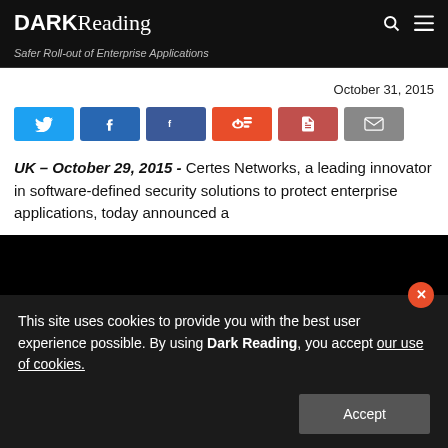DARK Reading
Safer Roll-out of Enterprise Applications
October 31, 2015
[Figure (other): Social share buttons: Twitter, LinkedIn, Facebook, Reddit, PDF, Email]
UK – October 29, 2015 - Certes Networks, a leading innovator in software-defined security solutions to protect enterprise applications, today announced a
This site uses cookies to provide you with the best user experience possible. By using Dark Reading, you accept our use of cookies.